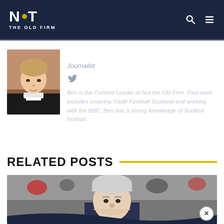NOT THE OLD FIRM
[Figure (photo): Headshot of Ben Banks, young person with short hair, wearing a dark sweater, seated indoors]
Ben Banks
Journalist
[Figure (logo): Twitter bird icon]
Ben is the Content Leader at Not the Old Firm. Past work includes covering Youth Football Scotland and working with the BBC. Ben has a strong knowledge of Scottish football.
RELATED POSTS
[Figure (photo): Older man with silver/white hair, possibly a football manager, photographed outdoors at a stadium]